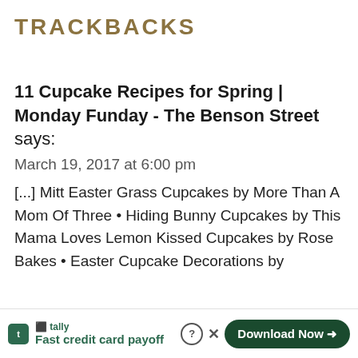TRACKBACKS
11 Cupcake Recipes for Spring | Monday Funday - The Benson Street says:
March 19, 2017 at 6:00 pm
[...] Mitt Easter Grass Cupcakes by More Than A Mom Of Three • Hiding Bunny Cupcakes by This Mama Loves Lemon Kissed Cupcakes by Rose Bakes • Easter Cupcake Decorations by